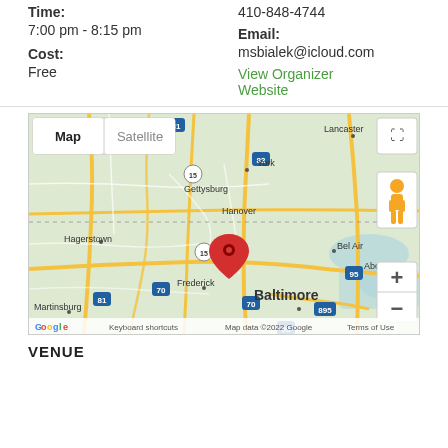Time:
7:00 pm - 8:15 pm
Cost:
Free
410-848-4744
Email:
msbialek@icloud.com
View Organizer Website
[Figure (map): Google Map showing the Baltimore/Maryland region with a red location pin near Hanover, PA area. Map/Satellite toggle buttons visible at top left. Zoom controls and Street View pegman visible at right. Cities labeled include York, Lancaster, Gettysburg, Hanover, Hagerstown, Frederick, Martinsburg, Bel Air, Aberdeen, Baltimore. Highway markers for 81, 83, 70, 95, 895, 15 visible. Google logo bottom left, 'Keyboard shortcuts', 'Map data ©2022 Google', 'Terms of Use' at bottom.]
VENUE